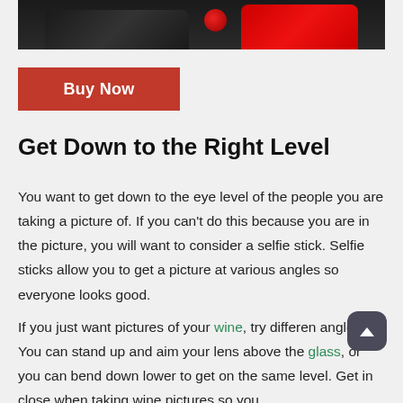[Figure (photo): Partial view of two cameras against a white background — a black camera on the left and a red camera on the right, cropped at the bottom of the strip.]
Buy Now
Get Down to the Right Level
You want to get down to the eye level of the people you are taking a picture of. If you can't do this because you are in the picture, you will want to consider a selfie stick. Selfie sticks allow you to get a picture at various angles so everyone looks good.
If you just want pictures of your wine, try different angles. You can stand up and aim your lens above the glass, or you can bend down lower to get on the same level. Get in close when taking wine pictures so you